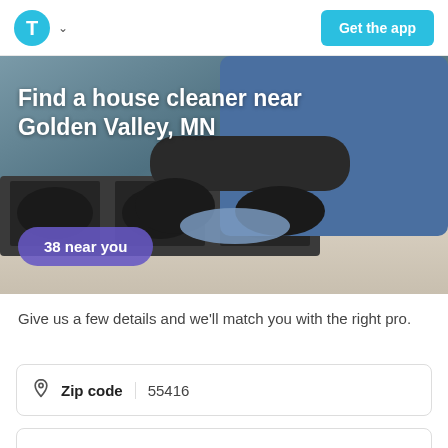T (logo) Get the app
[Figure (photo): Person in blue apron and black gloves cleaning a stove/countertop in a kitchen]
Find a house cleaner near Golden Valley, MN
38 near you
Give us a few details and we’ll match you with the right pro.
Zip code  55416
Frequency